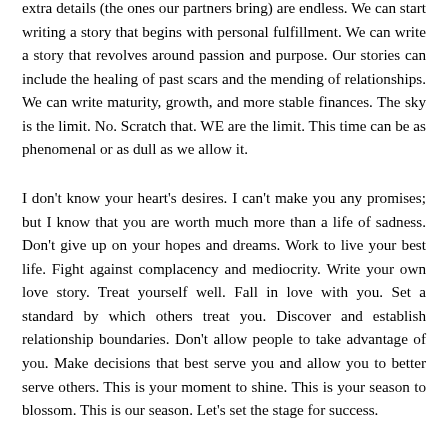extra details (the ones our partners bring) are endless. We can start writing a story that begins with personal fulfillment. We can write a story that revolves around passion and purpose. Our stories can include the healing of past scars and the mending of relationships. We can write maturity, growth, and more stable finances. The sky is the limit. No. Scratch that. WE are the limit. This time can be as phenomenal or as dull as we allow it.
I don't know your heart's desires. I can't make you any promises; but I know that you are worth much more than a life of sadness. Don't give up on your hopes and dreams. Work to live your best life. Fight against complacency and mediocrity. Write your own love story. Treat yourself well. Fall in love with you. Set a standard by which others treat you. Discover and establish relationship boundaries. Don't allow people to take advantage of you. Make decisions that best serve you and allow you to better serve others. This is your moment to shine. This is your season to blossom. This is our season. Let's set the stage for success.